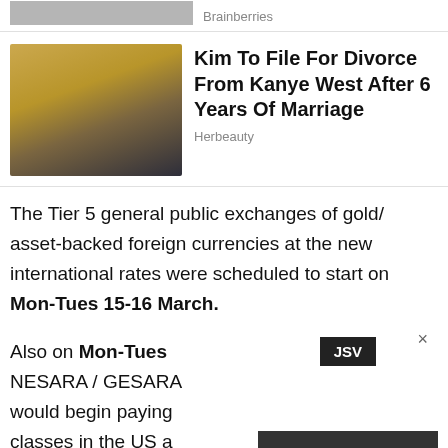[Figure (photo): Partial top strip showing a cropped photo thumbnail (person) with Brainberries label]
Brainberries
[Figure (photo): Thumbnail photo of a woman with long brown hair wearing a yellow sweater, standing in front of clothing racks]
Kim To File For Divorce From Kanye West After 6 Years Of Marriage
Herbeauty
The Tier 5 general public exchanges of gold/asset-backed foreign currencies at the new international rates were scheduled to start on Mon-Tues 15-16 March.
Also on Mon-Tues NESARA / GESARA would begin paying classes in the US a